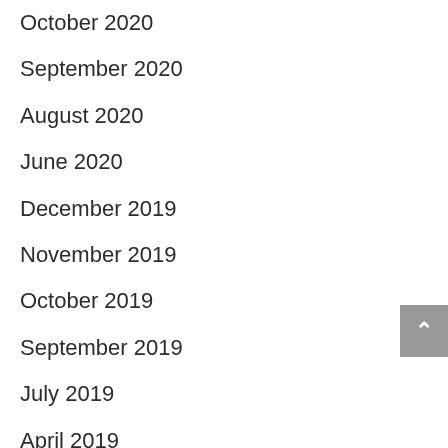October 2020
September 2020
August 2020
June 2020
December 2019
November 2019
October 2019
September 2019
July 2019
April 2019
November 2018